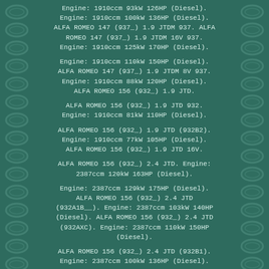Engine: 1910ccm 93kW 126HP (Diesel). Engine: 1910ccm 100kW 136HP (Diesel). ALFA ROMEO 147 (937_) 1.9 JTDM 937. ALFA ROMEO 147 (937_) 1.9 JTDM 16V 937. Engine: 1910ccm 125kW 170HP (Diesel).
Engine: 1910ccm 110kW 150HP (Diesel). ALFA ROMEO 147 (937_) 1.9 JTDM 8V 937. Engine: 1910ccm 88kW 120HP (Diesel). ALFA ROMEO 156 (932_) 1.9 JTD.
ALFA ROMEO 156 (932_) 1.9 JTD 932. Engine: 1910ccm 81kW 110HP (Diesel).
ALFA ROMEO 156 (932_) 1.9 JTD (932B2). Engine: 1910ccm 77kW 105HP (Diesel). ALFA ROMEO 156 (932_) 1.9 JTD 16V.
ALFA ROMEO 156 (932_) 2.4 JTD. Engine: 2387ccm 120kW 163HP (Diesel).
Engine: 2387ccm 129kW 175HP (Diesel). ALFA ROMEO 156 (932_) 2.4 JTD (932A1B__). Engine: 2387ccm 103kW 140HP (Diesel). ALFA ROMEO 156 (932_) 2.4 JTD (932AXC). Engine: 2387ccm 110kW 150HP (Diesel).
ALFA ROMEO 156 (932_) 2.4 JTD (932B1). Engine: 2387ccm 100kW 136HP (Diesel).